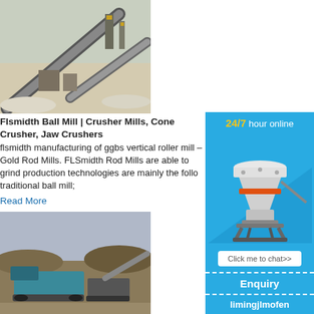[Figure (photo): Aerial view of a mining/crushing facility with conveyor belts and machinery in a snowy/sandy landscape]
Flsmidth Ball Mill | Crusher Mills, Cone Crusher, Jaw Crushers
flsmidth manufacturing of ggbs vertical roller mill – Gold Rod Mills. FLSmidth Rod Mills are able to grind production technologies are mainly the follo traditional ball mill;
Read More
[Figure (photo): Mobile crushing/screening plant on a gravel/dirt site]
[Figure (illustration): Sidebar advertisement: 24/7 hour online chat widget showing a cone crusher machine with 'Click me to chat>>' button, Enquiry section, and limingjlmofen branding]
Our modern vertical roller mill takes you further - Our vertical roller mill offers optimum raw, c